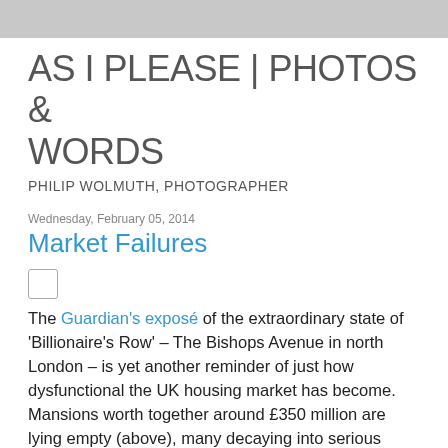AS I PLEASE | PHOTOS & WORDS
PHILIP WOLMUTH, PHOTOGRAPHER
Wednesday, February 05, 2014
Market Failures
[Figure (photo): Small image placeholder thumbnail]
The Guardian's exposé of the extraordinary state of 'Billionaire's Row' – The Bishops Avenue in north London – is yet another reminder of just how dysfunctional the UK housing market has become. Mansions worth together around £350 million are lying empty (above), many decaying into serious dereliction, whilst the government's 'bedroom tax' is forcing large numbers of those at the other end of the